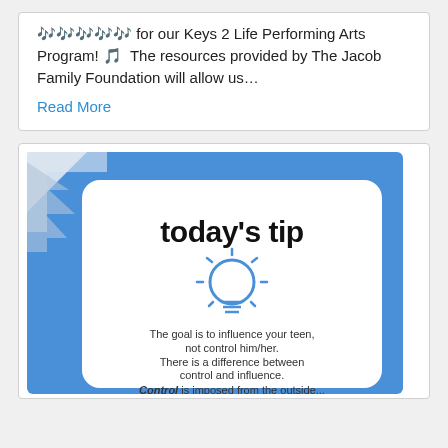🎶🎶🎶🎶🎶 for our Keys 2 Life Performing Arts Program! 🎵  The resources provided by The Jacob Family Foundation will allow us…
Read More
[Figure (infographic): A 'today's tip' card with a blue background and white rounded card inset. A lightbulb icon is shown. Text reads: The goal is to influence your teen, not control him/her. There is a difference between control and influence. Control is imposed from the outside...]